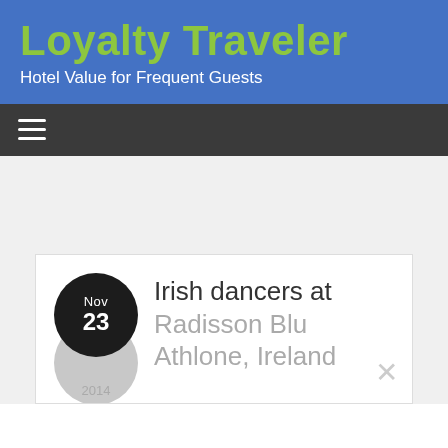Loyalty Traveler
Hotel Value for Frequent Guests
[Figure (screenshot): Navigation bar with hamburger menu icon (three horizontal lines) on dark background]
Irish dancers at Radisson Blu Athlone, Ireland
Nov 23 2014